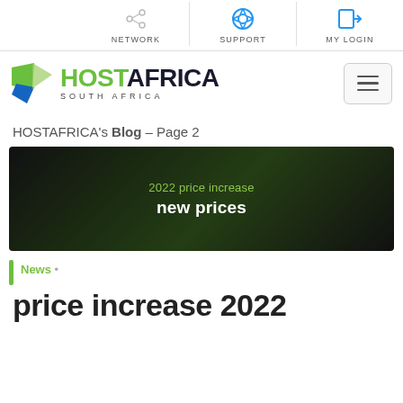NETWORK | SUPPORT | MY LOGIN
[Figure (logo): HostAfrica South Africa logo with green arrow/map pin icon and hamburger menu button]
HOSTAFRICA's Blog - Page 2
[Figure (photo): Dark banner image with text '2022 price increase new prices' overlaid on a dark keyboard/tech background]
News •
price increase 2022